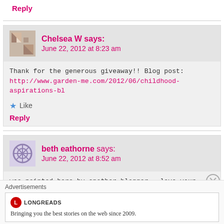Reply
Chelsea W says:
June 22, 2012 at 8:23 am
Thank for the generous giveaway!! Blog post:
http://www.garden-me.com/2012/06/childhood-aspirations-bl
Like
Reply
beth eathorne says:
June 22, 2012 at 8:52 am
was pointed here by another blogger...love your giveaway...
Like
Advertisements
Bringing you the best stories on the web since 2009.